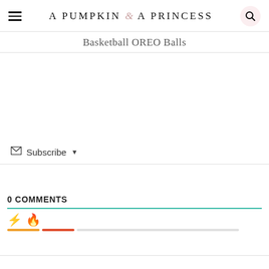A PUMPKIN & A PRINCESS
Basketball OREO Balls
Subscribe
0 COMMENTS